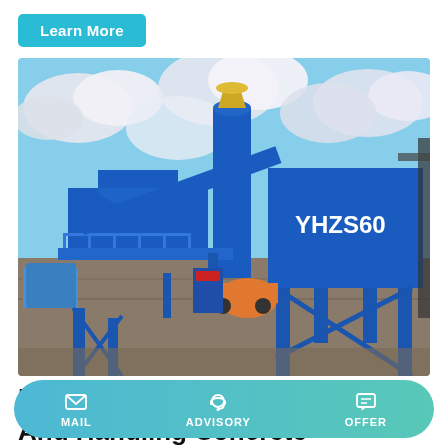Learn More
[Figure (photo): YHZS60 mobile concrete batching plant with blue steel structure, conveyor belt, cylindrical silo, and aggregate bins on a construction site with cloudy sky.]
Batching, Mixing, Transporting, And Handling Concrete
MAIL | ADVISORY | OFFER